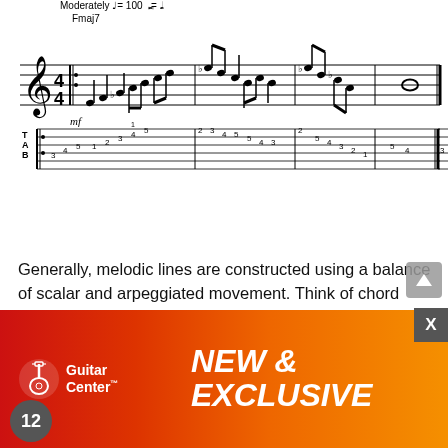[Figure (other): Sheet music notation with treble clef staff showing a melodic line marked 'Moderately ♩= 100' with Fmaj7 chord symbol, marked mf, followed by guitar tablature (TAB) notation below showing fret numbers on 6 lines. The music shows several measures of notes with accidentals and the TAB shows fret numbers like 3,4,5,1,2,3,4,5,2,3,4,5,5,4,3,2,5,4,3,2,1,5,4,3.]
Generally, melodic lines are constructed using a balance of scalar and arpeggiated movement. Think of chord tones (root, 3, 5, 7) and the extensions (9, #11, 13) as areas of resolution. Chromatic passing tones are initially inserted between whole-steps, allowing connections and resolutions to chord and scale tones.
In measure one of Ex. 13, Ab is inserted between A and G, allowing a descending chromatic passage. Also, note the Eb inserted between E and D. Most of this example makes use of
[Figure (other): Guitar Center advertisement banner with red-to-orange gradient background, Guitar Center logo with guitar icon on left, and 'NEW & EXCLUSIVE' text in large bold italic white letters on right.]
12